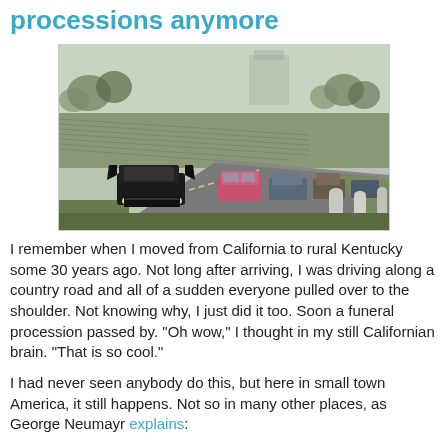processions anymore
[Figure (photo): A funeral procession of cars driving along a road through a cemetery or memorial park. A large black hearse leads, followed by a pink car and other vehicles. Rows of grave markers visible in background, trees and misty buildings in distance. Photo credit: Kevin Nelson.]
I remember when I moved from California to rural Kentucky some 30 years ago. Not long after arriving, I was driving along a country road and all of a sudden everyone pulled over to the shoulder. Not knowing why, I just did it too. Soon a funeral procession passed by. "Oh wow," I thought in my still Californian brain. "That is so cool."
I had never seen anybody do this, but here in small town America, it still happens. Not so in many other places, as George Neumayr explains: